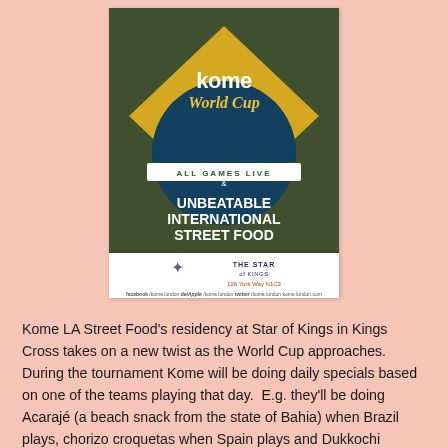[Figure (illustration): Kome World Cup promotional poster featuring Brazilian flag colors (green, yellow, blue). Text reads: 'kome World Cup ALL GAMES LIVE & UNBEATABLE INTERNATIONAL STREET FOOD'. Below the poster: The Star of Kings logo with address '126 York Way N1C3' and social media handles: facebook, delApple, twitter, kome london.com]
Kome LA Street Food's residency at Star of Kings in Kings Cross takes on a new twist as the World Cup approaches. During the tournament Kome will be doing daily specials based on one of the teams playing that day. E.g. they'll be doing Acarajé (a beach snack from the state of Bahia) when Brazil plays, chorizo croquetas when Spain plays and Dukkochi (Korean chicken skewers) when South Korea plays and many more. Plus all the games will be on in the pub on